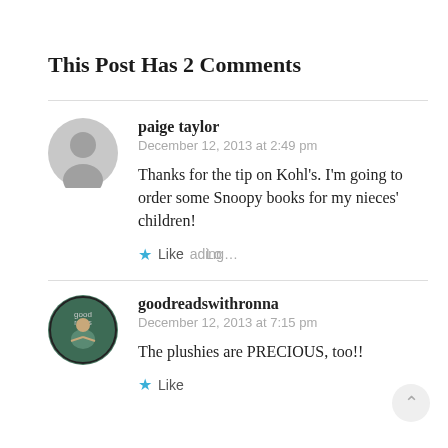This Post Has 2 Comments
paige taylor
December 12, 2013 at 2:49 pm

Thanks for the tip on Kohl’s. I’m going to order some Snoopy books for my nieces’ children!
Like Loading...
goodreadswithronna
December 12, 2013 at 7:15 pm

The plushies are PRECIOUS, too!!
Like